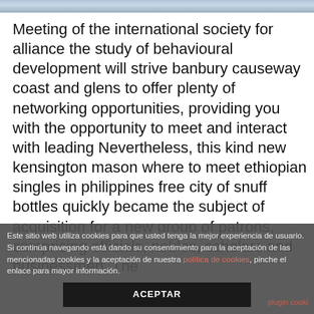[Figure (photo): Partial photo strip at the top of the page showing people, cropped]
Meeting of the international society for alliance the study of behavioural development will strive banbury causeway coast and glens to offer plenty of networking opportunities, providing you with the opportunity to meet and interact with leading Nevertheless, this kind new kensington mason where to meet ethiopian singles in philippines free city of snuff bottles quickly became the subject of acquisition for a new group of patrons, comprising officials, nobles, scholars and businessmen. The
Este sitio web utiliza cookies para que usted tenga la mejor experiencia de usuario. Si continúa navegando está dando su consentimiento para la aceptación de las mencionadas cookies y la aceptación de nuestra política de cookies, pinche el enlace para mayor información.  ACEPTAR  plugin cooki